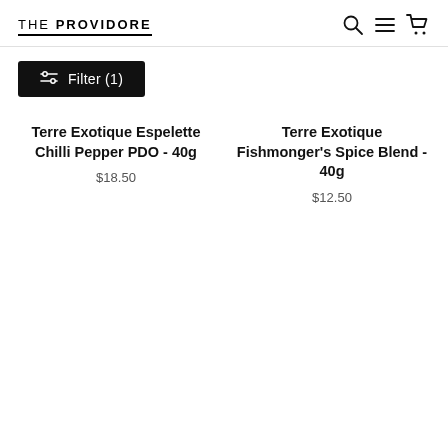THE PROVIDORE
Filter (1)
Terre Exotique Espelette Chilli Pepper PDO - 40g
$18.50
Terre Exotique Fishmonger's Spice Blend - 40g
$12.50